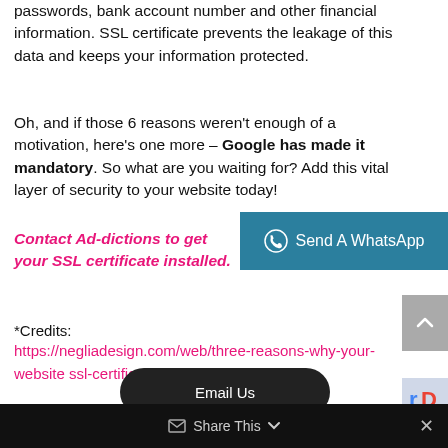passwords, bank account number and other financial information. SSL certificate prevents the leakage of this data and keeps your information protected.
Oh, and if those 6 reasons weren't enough of a motivation, here's one more – Google has made it mandatory. So what are you waiting for? Add this vital layer of security to your website today!
Contact Ad-dictions to get your SSL certificate installed.
[Figure (other): WhatsApp contact button with teal background reading 'Send A WhatsApp']
*Credits:
https://negliadesign.com/web/three-reasons-why-your-website-needs-an-ssl-certificate/
[Figure (other): Email Us dark rounded button overlay]
Share This ×